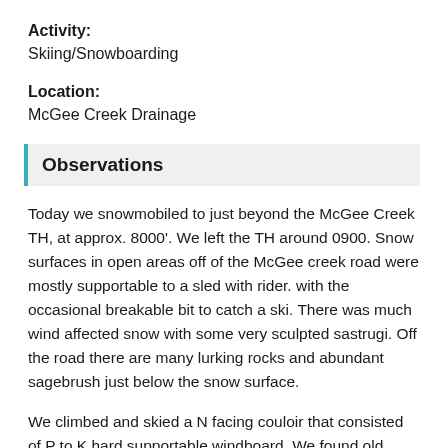Activity:
Skiing/Snowboarding
Location:
McGee Creek Drainage
Observations
Today we snowmobiled to just beyond the McGee Creek TH, at approx. 8000'. We left the TH around 0900. Snow surfaces in open areas off of the McGee creek road were mostly supportable to a sled with rider. with the occasional breakable bit to catch a ski. There was much wind affected snow with some very sculpted sastrugi. Off the road there are many lurking rocks and abundant sagebrush just below the snow surface.
We climbed and skied a N facing couloir that consisted of P to K hard supportable windboard. We found old debris